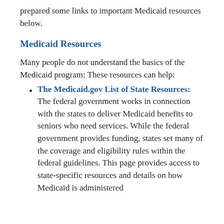prepared some links to important Medicaid resources below.
Medicaid Resources
Many people do not understand the basics of the Medicaid program: These resources can help:
The Medicaid.gov List of State Resources: The federal government works in connection with the states to deliver Medicaid benefits to seniors who need services. While the federal government provides funding, states set many of the coverage and eligibility rules within the federal guidelines. This page provides access to state-specific resources and details on how Medicaid is administered